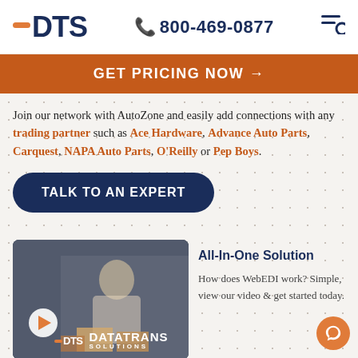[Figure (logo): DTS (DataTrans Solutions) logo with orange dash and dark blue text]
800-469-0877
[Figure (infographic): GET PRICING NOW orange banner with arrow]
Join our network with AutoZone and easily add connections with any trading partner such as Ace Hardware, Advance Auto Parts, Carquest, NAPA Auto Parts, O'Reilly or Pep Boys.
[Figure (other): TALK TO AN EXPERT dark blue button]
[Figure (photo): Video thumbnail showing woman on phone packing boxes, DTS DataTrans Solutions logo with play button]
All-In-One Solution
How does WebEDI work? Simple, view our video & get started today.